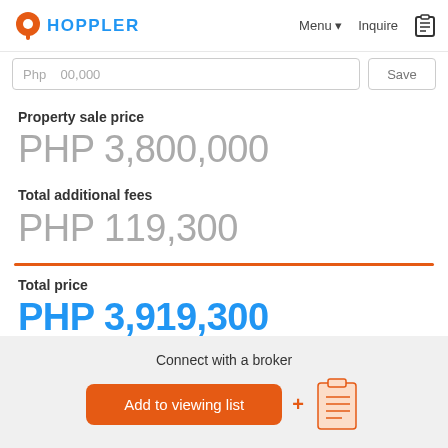HOPPLER | Menu | Inquire
Php 00,000
Property sale price
PHP 3,800,000
Total additional fees
PHP 119,300
Total price
PHP 3,919,300
Connect with a broker
Add to viewing list